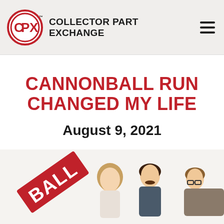COLLECTOR PART EXCHANGE
CANNONBALL RUN CHANGED MY LIFE
August 9, 2021
[Figure (illustration): Movie poster/promotional image for Cannonball Run showing characters including a woman and men, with partial red text 'BALL' visible from the title logo]